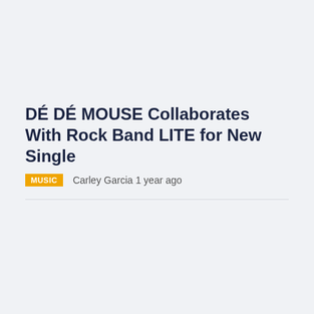DÉ DÉ MOUSE Collaborates With Rock Band LITE for New Single
MUSIC   Carley Garcia 1 year ago